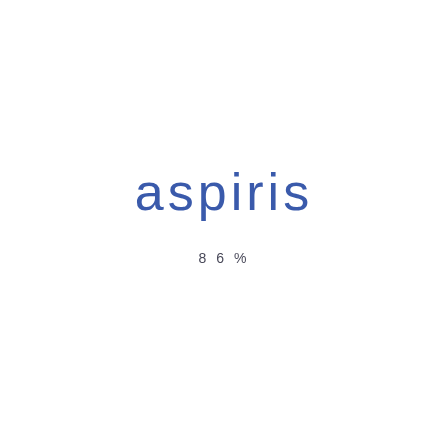[Figure (logo): Aspiris company logo in blue text]
86%